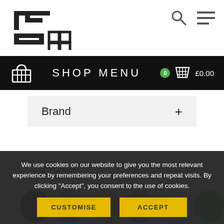[Figure (logo): TFS logo, geometric black symbol]
[Figure (other): Search icon (magnifying glass) and hamburger menu icon in top right]
SHOP MENU
[Figure (other): Shopping basket icon with green badge showing 0 and price £0.00]
Brand +
Colour -
[Figure (other): Colour swatches: black, blue, beige/tan, brown, cream/ivory, green]
We use cookies on our website to give you the most relevant experience by remembering your preferences and repeat visits. By clicking "Accept", you consent to the use of cookies.
CUSTOMISE
ACCEPT